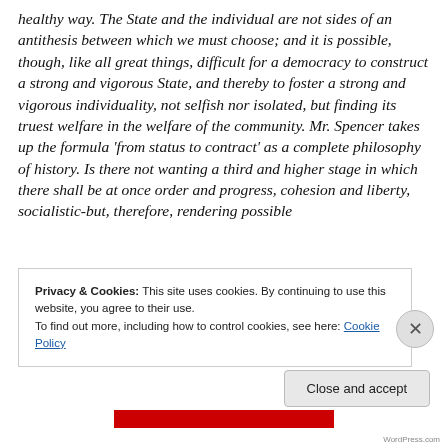healthy way. The State and the individual are not sides of an antithesis between which we must choose; and it is possible, though, like all great things, difficult for a democracy to construct a strong and vigorous State, and thereby to foster a strong and vigorous individuality, not selfish nor isolated, but finding its truest welfare in the welfare of the community. Mr. Spencer takes up the formula 'from status to contract' as a complete philosophy of history. Is there not wanting a third and higher stage in which there shall be at once order and progress, cohesion and liberty, socialistic-but, therefore, rendering possible
Privacy & Cookies: This site uses cookies. By continuing to use this website, you agree to their use.
To find out more, including how to control cookies, see here: Cookie Policy
Close and accept